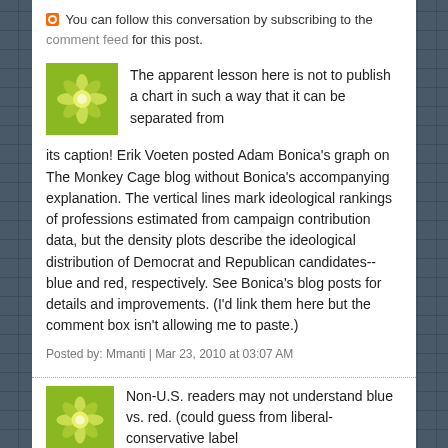You can follow this conversation by subscribing to the comment feed for this post.
The apparent lesson here is not to publish a chart in such a way that it can be separated from its caption! Erik Voeten posted Adam Bonica's graph on The Monkey Cage blog without Bonica's accompanying explanation. The vertical lines mark ideological rankings of professions estimated from campaign contribution data, but the density plots describe the ideological distribution of Democrat and Republican candidates-- blue and red, respectively. See Bonica's blog posts for details and improvements. (I'd link them here but the comment box isn't allowing me to paste.)
Posted by: Mmanti | Mar 23, 2010 at 03:07 AM
Non-U.S. readers may not understand blue vs. red. (could guess from liberal-conservative label